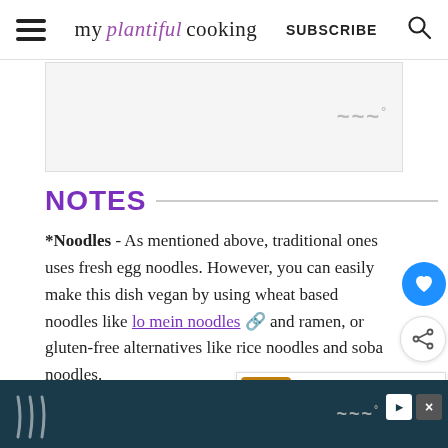my plantiful cooking | SUBSCRIBE
[Figure (other): Advertisement placeholder area with Mediavine WW logo watermark]
NOTES
*Noodles - As mentioned above, traditional ones uses fresh egg noodles. However, you can easily make this dish vegan by using wheat based noodles like lo mein noodles and ramen, or gluten-free alternatives like rice noodles and soba noodles.
**Shallot oil - I usually purchase my shallot ...  at